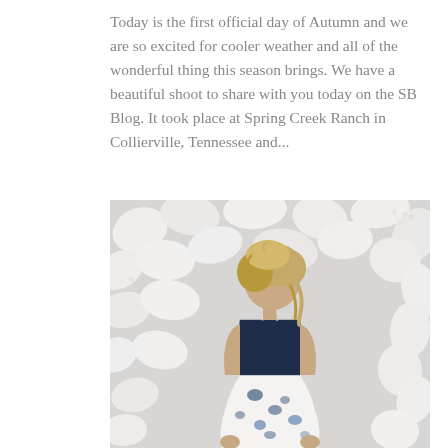Today is the first official day of Autumn and we are so excited for cooler weather and all of the wonderful thing this season brings. We have a beautiful shoot to share with you today on the SB Blog. It took place at Spring Creek Ranch in Collierville, Tennessee and...
[Figure (photo): A woman with curly blonde hair, wearing a navy blue lace top and white floral dress, photographed from behind against a background of white petals and flowers.]